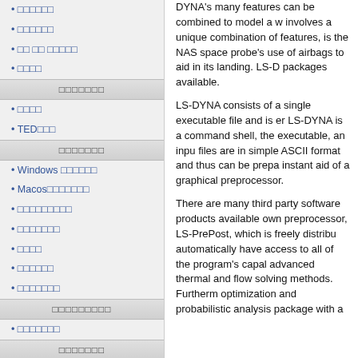□□□□□□
□□□□□□
□□ □□ □□□□□
□□□□
□□□□□□□
□□□□
TED□□□
□□□□□□□
Windows □□□□□□
Macos□□□□□□□
□□□□□□□□□
□□□□□□□
□□□□
□□□□□□
□□□□□□□
□□□□□□□□□
□□□□□□□
□□□□□□□
□□□□
DYNA's many features can be combined to model a w involves a unique combination of features, is the NAS space probe's use of airbags to aid in its landing. LS-D packages available.
LS-DYNA consists of a single executable file and is er LS-DYNA is a command shell, the executable, an inpu files are in simple ASCII format and thus can be prepa instant aid of a graphical preprocessor.
There are many third party software products available own preprocessor, LS-PrePost, which is freely distribu automatically have access to all of the program's capal advanced thermal and flow solving methods. Furtherm optimization and probabilistic analysis package with a
Capabilities
LS-DYNA's analysis capabilities include:
Full 2D & 3D capabilities
Nonlinear dynamics